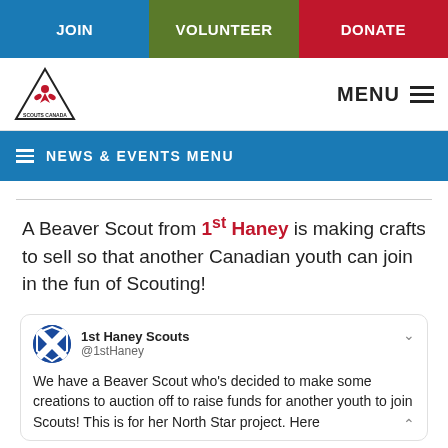JOIN | VOLUNTEER | DONATE
[Figure (logo): Scouts Canada triangle logo with maple leaf motif]
NEWS & EVENTS MENU
A Beaver Scout from 1st Haney is making crafts to sell so that another Canadian youth can join in the fun of Scouting!
[Figure (screenshot): Tweet from 1st Haney Scouts (@1stHaney): We have a Beaver Scout who's decided to make some creations to auction off to raise funds for another youth to join Scouts! This is for her North Star project. Here]